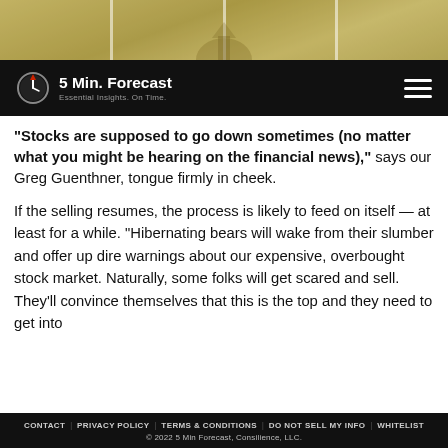[Figure (photo): Hero banner image showing a city skyline with golden/sepia tones, with vertical stripe dividers]
5 Min. Forecast — Essential Insights. On Time.
"Stocks are supposed to go down sometimes (no matter what you might be hearing on the financial news)," says our Greg Guenthner, tongue firmly in cheek.
If the selling resumes, the process is likely to feed on itself — at least for a while. "Hibernating bears will wake from their slumber and offer up dire warnings about our expensive, overbought stock market. Naturally, some folks will get scared and sell. They'll convince themselves that this is the top and they need to get into
CONTACT | PRIVACY POLICY | TERMS & CONDITIONS | DO NOT SELL MY INFO | WHITELIST
© 2022 5 Min Forecast, Consilience, LLC.